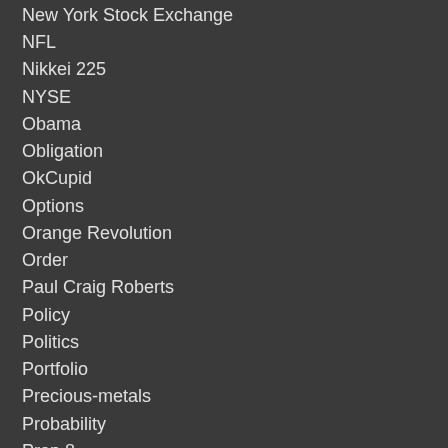New York Stock Exchange
NFL
Nikkei 225
NYSE
Obama
Obligation
OkCupid
Options
Orange Revolution
Order
Paul Craig Roberts
Policy
Politics
Portfolio
Precious-metals
Probability
Prop 8
Proposition 8
Protests
Public
Punt